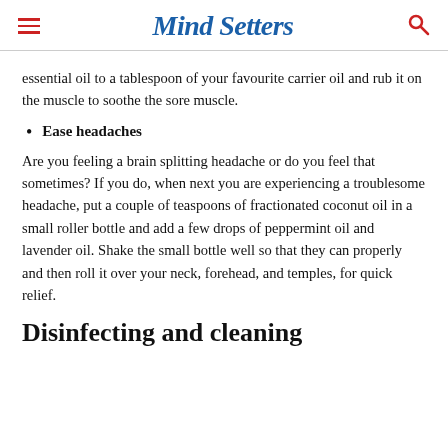Mind Setters
essential oil to a tablespoon of your favourite carrier oil and rub it on the muscle to soothe the sore muscle.
Ease headaches
Are you feeling a brain splitting headache or do you feel that sometimes? If you do, when next you are experiencing a troublesome headache, put a couple of teaspoons of fractionated coconut oil in a small roller bottle and add a few drops of peppermint oil and lavender oil. Shake the small bottle well so that they can properly and then roll it over your neck, forehead, and temples, for quick relief.
Disinfecting and cleaning